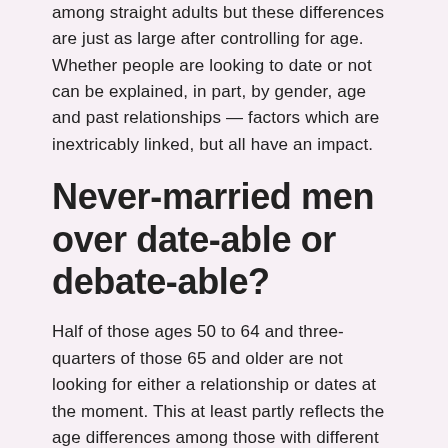among straight adults but these differences are just as large after controlling for age. Whether people are looking to date or not can be explained, in part, by gender, age and past relationships — factors which are inextricably linked, but all have an impact.
Never-married men over date-able or debate-able?
Half of those ages 50 to 64 and three-quarters of those 65 and older are not looking for either a relationship or dates at the moment. This at least partly reflects the age differences among those with different marital histories. The gender differences are heavily concentrated among older singles.
However, these differences can primarily be